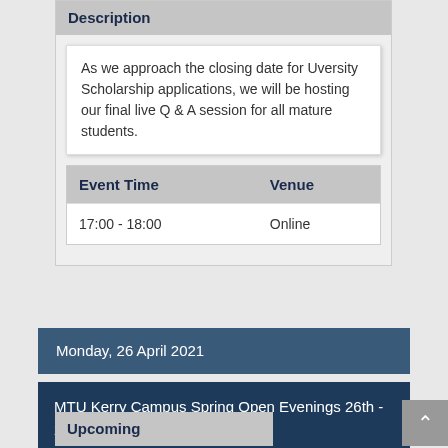Description
As we approach the closing date for Uversity Scholarship applications, we will be hosting our final live Q & A session for all mature students.
| Event Time | Venue |
| --- | --- |
| 17:00 - 18:00 | Online |
Monday, 26 April 2021
MTU Kerry Campus Spring Open Evenings 26th - 29th April From 7pm
Upcoming